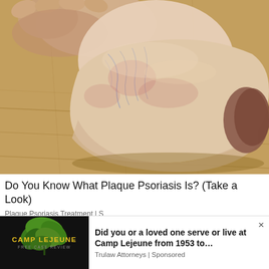[Figure (photo): Close-up photo of a human foot and ankle being held, showing skin with visible veins and reddish discoloration, resting on a wooden floor surface. Associated with plaque psoriasis content.]
Do You Know What Plaque Psoriasis Is? (Take a Look)
Plaque Psoriasis Treatment | S
These changes should signal to policymakers that they ought to be constantly thinking about the peculiar circumstances facing their economies and make the
[Figure (infographic): Advertisement banner for Camp Lejeune Free Case Review by Trulaw Attorneys. Left side shows dark background with green leaf/cannabis image and yellow text reading 'CAMP LEJEUNE' with 'FREE CASE REVIEW' below. Right side reads 'Did you or a loved one serve or live at Camp Lejeune from 1953 to... Trulaw Attorneys | Sponsored'. Close button (×) in top right.]